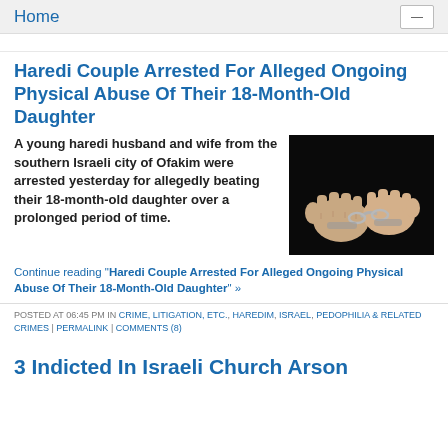Home
POSTED AT 06:45 PM IN...
Haredi Couple Arrested For Alleged Ongoing Physical Abuse Of Their 18-Month-Old Daughter
A young haredi husband and wife from the southern Israeli city of Ofakim were arrested yesterday for allegedly beating their 18-month-old daughter over a prolonged period of time.
[Figure (photo): Hands in handcuffs against black background]
Continue reading "Haredi Couple Arrested For Alleged Ongoing Physical Abuse Of Their 18-Month-Old Daughter" »
POSTED AT 06:45 PM IN CRIME, LITIGATION, ETC., HAREDIM, ISRAEL, PEDOPHILIA & RELATED CRIMES | PERMALINK | COMMENTS (8)
3 Indicted In Israeli Church Arson